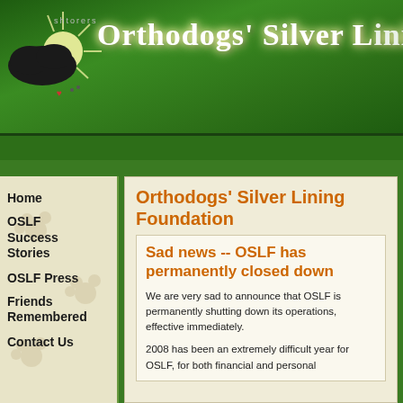Orthodogs' Silver Lining Foundation
Orthodogs' Silver Lining Foundation
Home
OSLF Success Stories
OSLF Press
Friends Remembered
Contact Us
Sad news -- OSLF has permanently closed down
We are very sad to announce that OSLF is permanently shutting down its operations, effective immediately.
2008 has been an extremely difficult year for OSLF, for both financial and personal